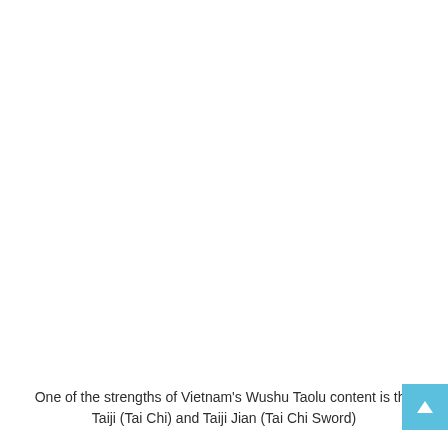One of the strengths of Vietnam's Wushu Taolu content is the Taiji (Tai Chi) and Taiji Jian (Tai Chi Sword)